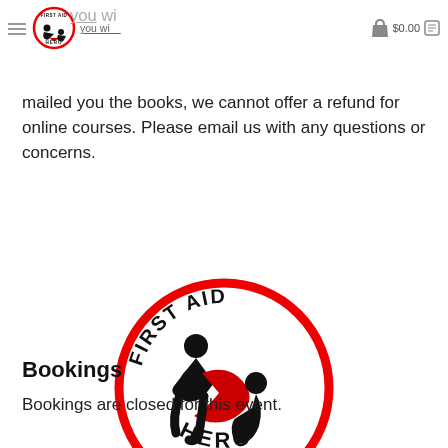you will be notified in advance and rescheduled to a date that works for you. $0.00
mailed you the books, we cannot offer a refund for online courses. Please email us with any questions or concerns.
[Figure (logo): First Aid Hero logo: circular red border with black stick figures performing CPR and text 'FIRST AID HERO']
Bookings
Bookings are closed for this event.